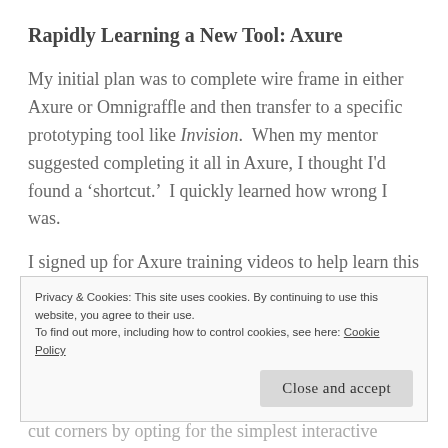Rapidly Learning a New Tool: Axure
My initial plan was to complete wire frame in either Axure or Omnigraffle and then transfer to a specific prototyping tool like Invision.  When my mentor suggested completing it all in Axure, I thought I’d found a ‘shortcut.’  I quickly learned how wrong I was.
I signed up for Axure training videos to help learn this tool, while using it for these critical steps.  My colleague stayed with Omnigraffle and it took a few
Privacy & Cookies: This site uses cookies. By continuing to use this website, you agree to their use.
To find out more, including how to control cookies, see here: Cookie Policy
cut corners by opting for the simplest interactive